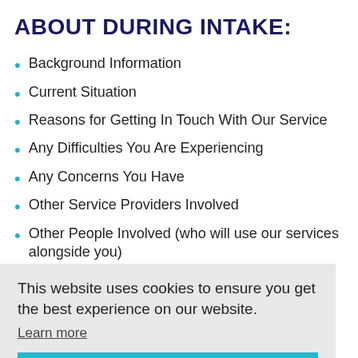ABOUT DURING INTAKE:
Background Information
Current Situation
Reasons for Getting In Touch With Our Service
Any Difficulties You Are Experiencing
Any Concerns You Have
Other Service Providers Involved
Other People Involved (who will use our services alongside you)
What Your Expectations Are
Your Availability
WE WILL TELL YOU ABOUT:
How We Work
What Services We Offer
This website uses cookies to ensure you get the best experience on our website.
Learn more
Got it!